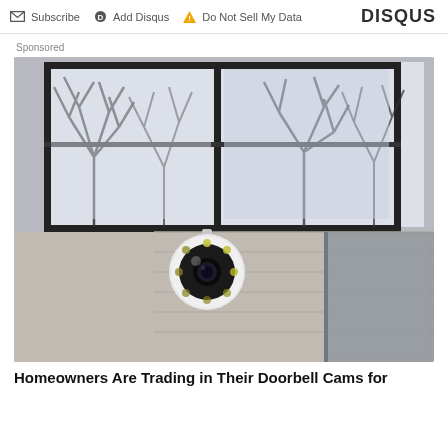Subscribe  Add Disqus  Do Not Sell My Data  DISQUS
Sponsored
[Figure (photo): Outdoor security camera mounted below a lantern-style light fixture on a house exterior wall. The camera is white and round with multiple LED lights around the lens. Behind it is a glass-panel lantern with black metal framing showing tree reflections.]
Homeowners Are Trading in Their Doorbell Cams for